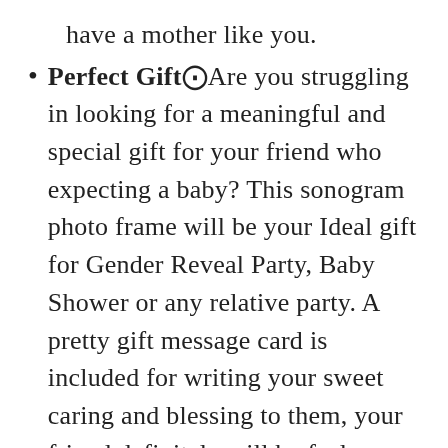Perfect Gift⁠Are you struggling in looking for a meaningful and special gift for your friend who expecting a baby? This sonogram photo frame will be your Ideal gift for Gender Reveal Party, Baby Shower or any relative party. A pretty gift message card is included for writing your sweet caring and blessing to them, your friend definitely will be feel fortunate to have an intimate and careful friend like you.
Special Keepsake: This sonogram photo frame is perfect for decorating a warm and lovely nursery room, pregnancy announcement for